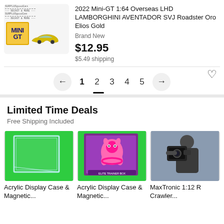[Figure (photo): Product listing image showing a Mini GT die-cast model box with a gold Lamborghini Aventador SVJ Roadster car]
2022 Mini-GT 1:64 Overseas LHD LAMBORGHINI AVENTADOR SVJ Roadster Oro Elios Gold
Brand New
$12.95
$5.49 shipping
← 1 2 3 4 5 →
Limited Time Deals
Free Shipping Included
[Figure (photo): Acrylic Display Case with green background]
Acrylic Display Case & Magnetic...
[Figure (photo): Acrylic Display Case with Pokemon card]
Acrylic Display Case & Magnetic...
[Figure (photo): MaxTronic 1:12 RC Crawler person holding camera]
MaxTronic 1:12 R Crawler...